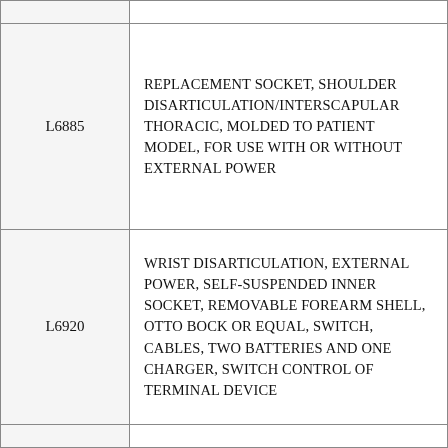| Code | Description |
| --- | --- |
| L6885 | REPLACEMENT SOCKET, SHOULDER DISARTICULATION/INTERSCAPULAR THORACIC, MOLDED TO PATIENT MODEL, FOR USE WITH OR WITHOUT EXTERNAL POWER |
| L6920 | WRIST DISARTICULATION, EXTERNAL POWER, SELF-SUSPENDED INNER SOCKET, REMOVABLE FOREARM SHELL, OTTO BOCK OR EQUAL, SWITCH, CABLES, TWO BATTERIES AND ONE CHARGER, SWITCH CONTROL OF TERMINAL DEVICE |